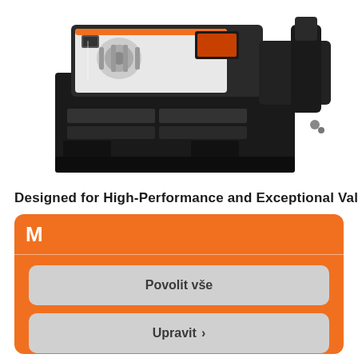[Figure (photo): CNC lathe / turning center machine tool, black and white body with orange accents, shown from a three-quarter angle against a white background.]
Designed for High-Performance and Exceptional Value
[Figure (infographic): Orange rounded panel with a white bold M logo at the top left, followed by a horizontal divider, then two light grey rounded buttons: 'Povolit vše' (Allow all) and 'Upravit >' (Edit).]